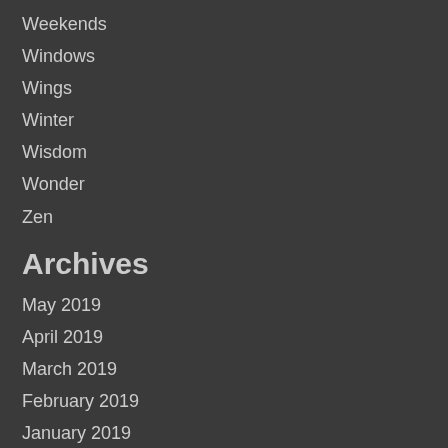Weekends
Windows
Wings
Winter
Wisdom
Wonder
Zen
Archives
May 2019
April 2019
March 2019
February 2019
January 2019
December 2018
November 2018
October 2018
September 2018
August 2018
July 2018
June 2018